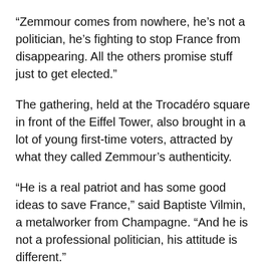“Zemmour comes from nowhere, he’s not a politician, he’s fighting to stop France from disappearing. All the others promise stuff just to get elected.”
The gathering, held at the Trocadéro square in front of the Eiffel Tower, also brought in a lot of young first-time voters, attracted by what they called Zemmour’s authenticity.
“He is a real patriot and has some good ideas to save France,” said Baptiste Vilmin, a metalworker from Champagne. “And he is not a professional politician, his attitude is different.”
Vilmin, who had come to the rally with a friend, also believed Zemmour would defy polling predictions in the last weeks of campaigning. “I think people are going to wake up, he can get through to them, there’s an energy